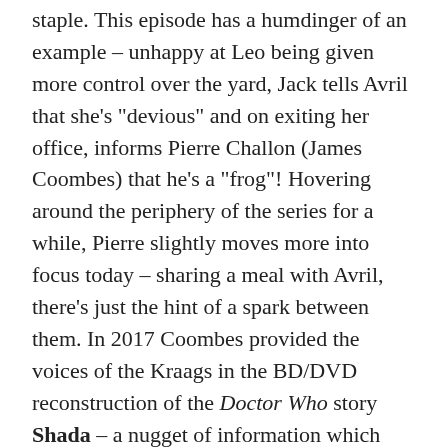staple. This episode has a humdinger of an example – unhappy at Leo being given more control over the yard, Jack tells Avril that she's "devious" and on exiting her office, informs Pierre Challon (James Coombes) that he's a "frog"! Hovering around the periphery of the series for a while, Pierre slightly moves more into focus today – sharing a meal with Avril, there's just the hint of a spark between them. In 2017 Coombes provided the voices of the Kraags in the BD/DVD reconstruction of the Doctor Who story Shada – a nugget of information which probably isn't of interest to many people, but I thought I'd share it anyway.
Back to Jack, he's still fuming that anybody – not least his daughter – could boss him about in